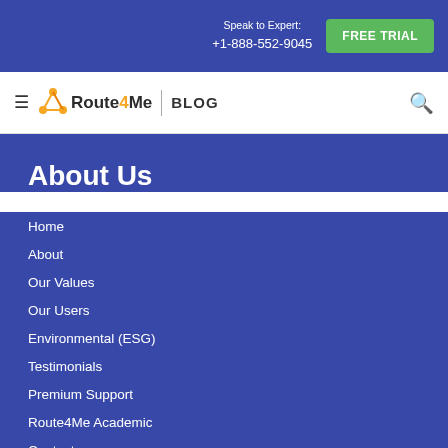Speak to Expert: +1-888-552-9045 | FREE TRIAL
Route4Me BLOG
About Us
Home
About
Our Values
Our Users
Environmental (ESG)
Testimonials
Premium Support
Route4Me Academic
Contact
Pricing